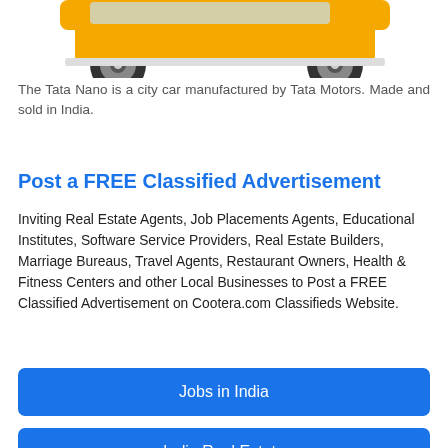[Figure (photo): Partial view of a Tata Nano car (yellow/orange), showing the bottom portion with wheels against a white background.]
The Tata Nano is a city car manufactured by Tata Motors. Made and sold in India.
Post a FREE Classified Advertisement
Inviting Real Estate Agents, Job Placements Agents, Educational Institutes, Software Service Providers, Real Estate Builders, Marriage Bureaus, Travel Agents, Restaurant Owners, Health & Fitness Centers and other Local Businesses to Post a FREE Classified Advertisement on Cootera.com Classifieds Website.
Jobs in India
India Real Estate